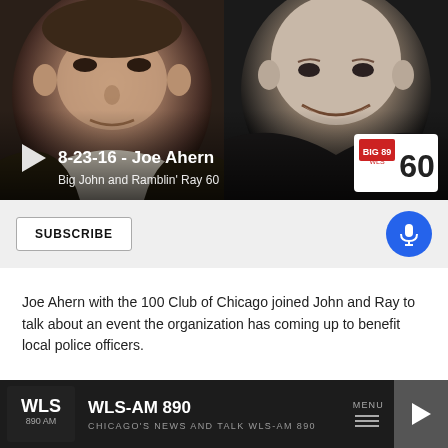[Figure (screenshot): Media player thumbnail showing two men's headshots side by side. Left: older heavyset man in suit. Right: bald smiling man in dark jacket. Play button overlay with title '8-23-16 - Joe Ahern' and subtitle 'Big John and Ramblin' Ray 60'. Station logo badge showing '60' in corner.]
SUBSCRIBE
Joe Ahern with the 100 Club of Chicago joined John and Ray to talk about an event the organization has coming up to benefit local police officers.
[Figure (logo): WLS-AM 890 bottom bar with logo, station name, CHICAGO'S NEWS AND TALK WLS-AM 890, MENU button, and play button]